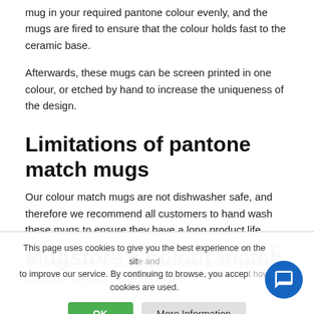mug in your required pantone colour evenly, and the mugs are fired to ensure that the colour holds fast to the ceramic base.
Afterwards, these mugs can be screen printed in one colour, or etched by hand to increase the uniqueness of the design.
Limitations of pantone match mugs
Our colour match mugs are not dishwasher safe, and therefore we recommend all customers to hand wash these mugs to ensure they have a long product life. Pantone matched products also have a minimum three week lead time, so please order in advance if you'd like to create the mug of your dreams!
Mugstore's colour match mugs
This page uses cookies to give you the best experience on the site and to improve our service. By continuing to browse, you accept how cookies are used.